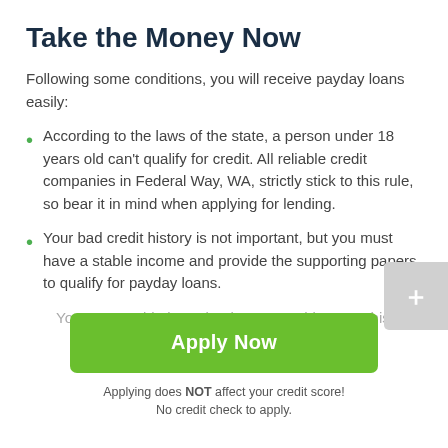Take the Money Now
Following some conditions, you will receive payday loans easily:
According to the laws of the state, a person under 18 years old can't qualify for credit. All reliable credit companies in Federal Way, WA, strictly stick to this rule, so bear it in mind when applying for lending.
Your bad credit history is not important, but you must have a stable income and provide the supporting papers to qualify for payday loans.
You must reside in Federal Way, Washington. This
Apply Now
Applying does NOT affect your credit score!
No credit check to apply.